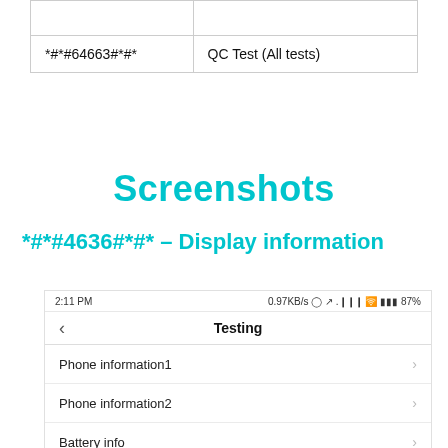| Code | Function |
| --- | --- |
|  |  |
| *#*#64663#*#* | QC Test (All tests) |
Screenshots
*#*#4636#*#* – Display information
[Figure (screenshot): Android phone screenshot showing Testing menu with options: Phone information1, Phone information2, Battery info, Wi-Fi information. Status bar shows 2:11 PM, 0.97KB/s, 87% battery.]